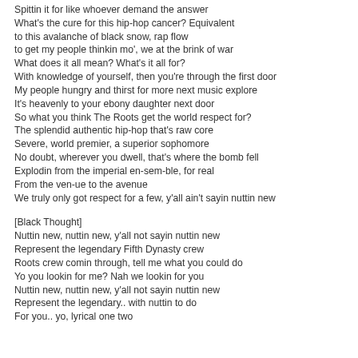Spittin it for like whoever demand the answer
What's the cure for this hip-hop cancer? Equivalent
to this avalanche of black snow, rap flow
to get my people thinkin mo', we at the brink of war
What does it all mean? What's it all for?
With knowledge of yourself, then you're through the first door
My people hungry and thirst for more next music explore
It's heavenly to your ebony daughter next door
So what you think The Roots get the world respect for?
The splendid authentic hip-hop that's raw core
Severe, world premier, a superior sophomore
No doubt, wherever you dwell, that's where the bomb fell
Explodin from the imperial en-sem-ble, for real
From the ven-ue to the avenue
We truly only got respect for a few, y'all ain't sayin nuttin new
[Black Thought]
Nuttin new, nuttin new, y'all not sayin nuttin new
Represent the legendary Fifth Dynasty crew
Roots crew comin through, tell me what you could do
Yo you lookin for me? Nah we lookin for you
Nuttin new, nuttin new, y'all not sayin nuttin new
Represent the legendary.. with nuttin to do
For you.. yo, lyrical one two